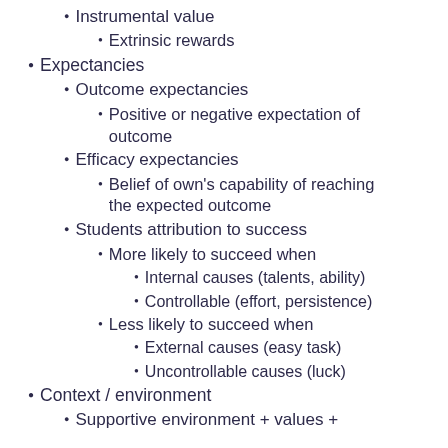Instrumental value
Extrinsic rewards
Expectancies
Outcome expectancies
Positive or negative expectation of outcome
Efficacy expectancies
Belief of own's capability of reaching the expected outcome
Students attribution to success
More likely to succeed when
Internal causes (talents, ability)
Controllable (effort, persistence)
Less likely to succeed when
External causes (easy task)
Uncontrollable causes (luck)
Context / environment
Supportive environment + values +